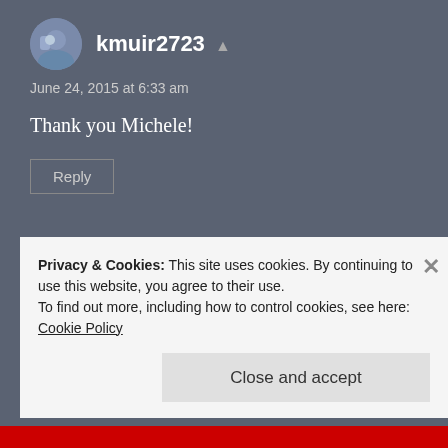kmuir2723 ▲
June 24, 2015 at 6:33 am
Thank you Michele!
Reply
Pen Pen
Privacy & Cookies: This site uses cookies. By continuing to use this website, you agree to their use.
To find out more, including how to control cookies, see here:
Cookie Policy
Close and accept